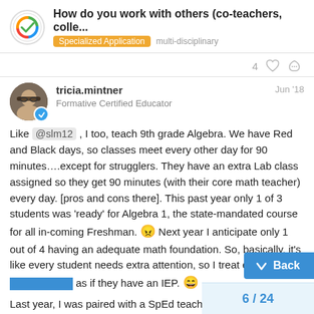How do you work with others (co-teachers, colle...
Specialized Application   multi-disciplinary
4 ♡
tricia.mintner   Jun '18
Formative Certified Educator
Like @slm12 , I too, teach 9th grade Algebra. We have Red and Black days, so classes meet every other day for 90 minutes….except for strugglers. They have an extra Lab class assigned so they get 90 minutes (with their core math teacher) every day. [pros and cons there]. This past year only 1 of 3 students was 'ready' for Algebra 1, the state-mandated course for all in-coming Freshman. 😠 Next year I anticipate only 1 out of 4 having an adequate math foundation. So, basically, it's like every student needs extra attention, so I treat e as if they have an IEP. 😄
Last year, I was paired with a SpEd teache course. We did very well together. We con
↓ Back
6 / 24